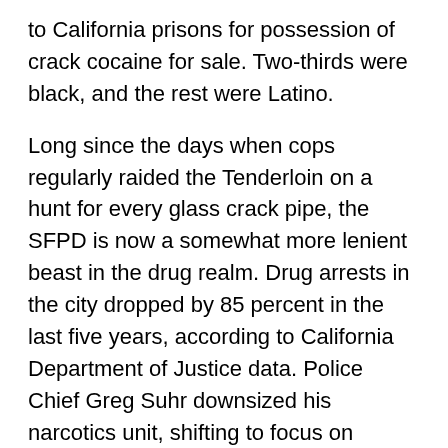to California prisons for possession of crack cocaine for sale. Two-thirds were black, and the rest were Latino.
Long since the days when cops regularly raided the Tenderloin on a hunt for every glass crack pipe, the SFPD is now a somewhat more lenient beast in the drug realm. Drug arrests in the city dropped by 85 percent in the last five years, according to California Department of Justice data. Police Chief Greg Suhr downsized his narcotics unit, shifting to focus on violent crime.
“People that sell drugs belong in jail because they’re preying upon sick people,” Suhr told the Guardian, although he added, “People with a drug problem need to be treated, as it’s a public